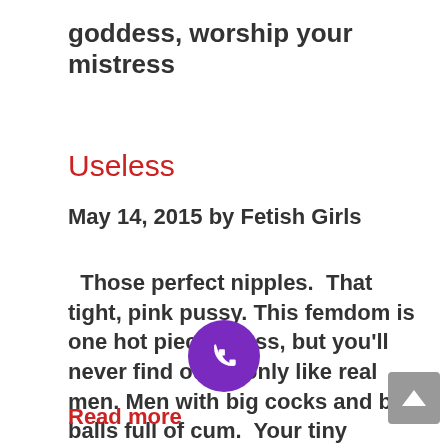goddess, worship your mistress
Useless
May 14, 2015 by Fetish Girls
Those perfect nipples.  That tight, pink pussy. This femdom is one hot piece of ass, but you'll never find out.  I only like real men. Men with big cocks and big balls full of cum.  Your tiny useless dick just makes me laugh. No, you're never going to have a ho  n like me to …
Read more